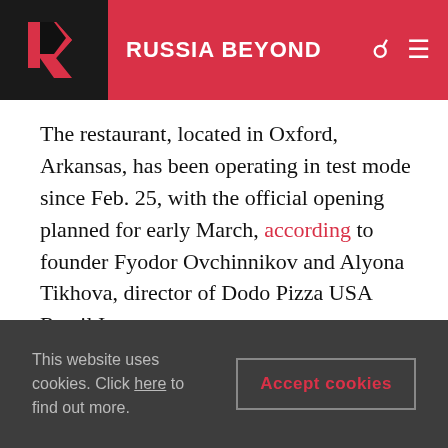RUSSIA BEYOND
The restaurant, located in Oxford, Arkansas, has been operating in test mode since Feb. 25, with the official opening planned for early March, according to founder Fyodor Ovchinnikov and Alyona Tikhova, director of Dodo Pizza USA Retail Inc.
Planned investment in the first Dodo Pizza restaurant is around $500,000. According to Ovchinnikov, the project will break even in the summer of 2018.
This website uses cookies. Click here to find out more. Accept cookies